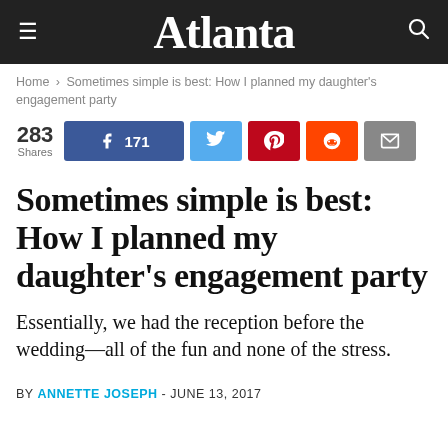Atlanta
Home › Sometimes simple is best: How I planned my daughter's engagement party
[Figure (infographic): Social share bar showing 283 Shares, Facebook 171, Twitter, Pinterest, Reddit, Email buttons]
Sometimes simple is best: How I planned my daughter's engagement party
Essentially, we had the reception before the wedding—all of the fun and none of the stress.
BY ANNETTE JOSEPH - JUNE 13, 2017